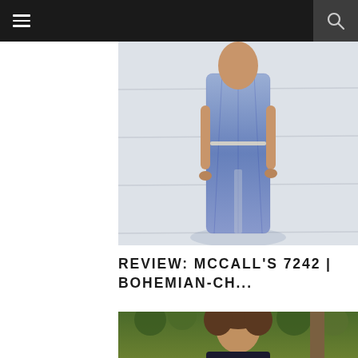☰  🔍
[Figure (photo): Person wearing a blue and white bohemian patterned maxi dress with a slit, standing outdoors against a marble wall background]
REVIEW: MCCALL'S 7242 | BOHEMIAN-CH...
[Figure (photo): Woman with curly hair wearing drop earrings, standing outdoors with green foliage in the background]